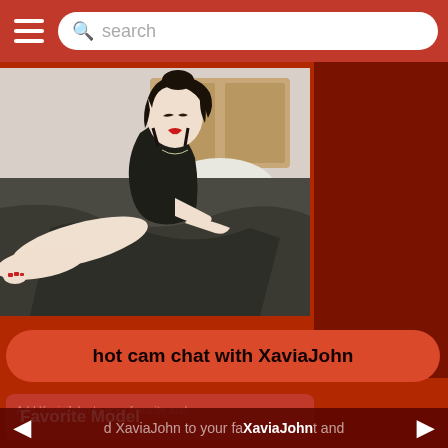search
[Figure (photo): Young woman with dark hair lying on a dark grey bed with rumpled sheets, wearing a dark slip dress, looking downward. Room has wooden furniture in background.]
hot cam chat with XaviaJohn
Favorite Model
d XaviaJohn to your favorite and
XaviaJohn